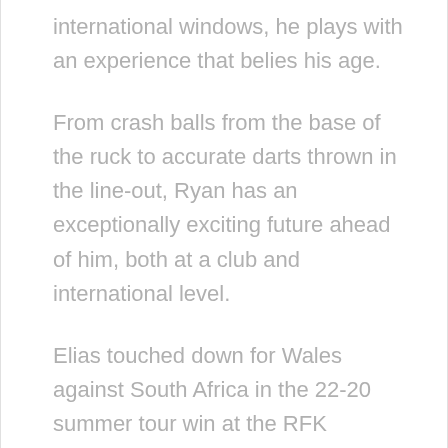international windows, he plays with an experience that belies his age.
From crash balls from the base of the ruck to accurate darts thrown in the line-out, Ryan has an exceptionally exciting future ahead of him, both at a club and international level.
Elias touched down for Wales against South Africa in the 22-20 summer tour win at the RFK Stadium in Washington,